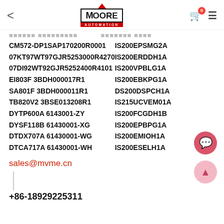Moore Automation header with logo, cart, and menu
CM572-DP1SAP170200R0001 | IS200EPSMG2A
07KT97WT97GJR5253000R4270 | IS200ERDDH1A
07DI92WT92GJR5252400R4101 | IS200VPBLG1A
EI803F 3BDH000017R1 | IS200EBKPG1A
SA801F 3BDH000011R1 | DS200DSPCH1A
TB820V2 3BSE013208R1 | IS215UCVEM01A
DYTP600A 6143001-ZY | IS200FCGDH1B
DYSF118B 61430001-XG | IS200EPBPG1A
DTDX707A 61430001-WG | IS200EMIOH1A
DTCA717A 61430001-WH | IS200ESELH1A
sales@mvme.cn
+86-18929225311